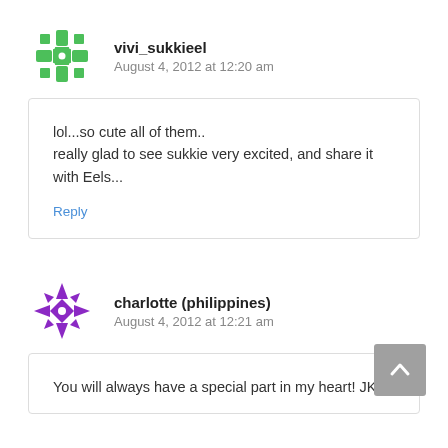vivi_sukkieel
August 4, 2012 at 12:20 am
lol...so cute all of them..
really glad to see sukkie very excited, and share it with Eels...
Reply
charlotte (philippines)
August 4, 2012 at 12:21 am
You will always have a special part in my heart! JKS